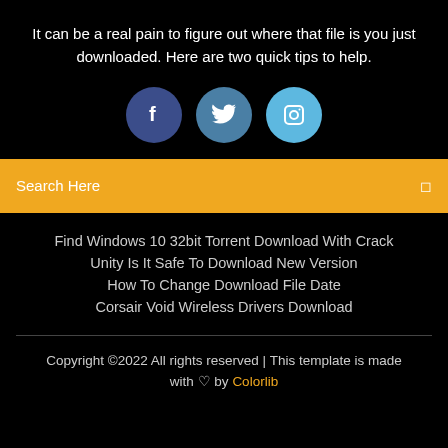It can be a real pain to figure out where that file is you just downloaded. Here are two quick tips to help.
[Figure (illustration): Three social media icon circles: Facebook (dark blue), Twitter (medium blue), Instagram (light blue)]
Search Here
Find Windows 10 32bit Torrent Download With Crack
Unity Is It Safe To Download New Version
How To Change Download File Date
Corsair Void Wireless Drivers Download
Copyright ©2022 All rights reserved | This template is made with ♡ by Colorlib